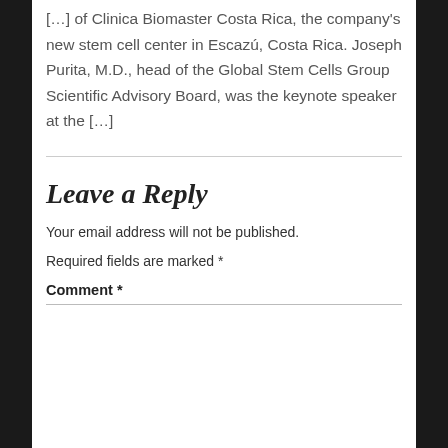[…] of Clinica Biomaster Costa Rica, the company's new stem cell center in Escazú, Costa Rica. Joseph Purita, M.D., head of the Global Stem Cells Group Scientific Advisory Board, was the keynote speaker at the […]
Leave a Reply
Your email address will not be published.
Required fields are marked *
Comment *